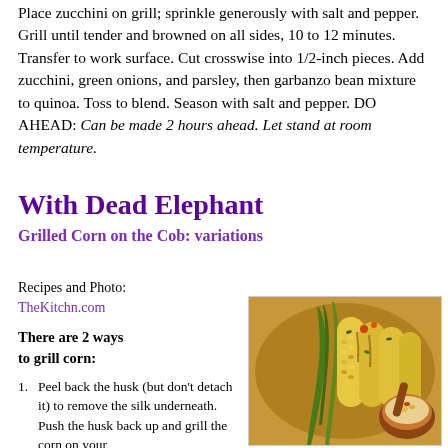Place zucchini on grill; sprinkle generously with salt and pepper. Grill until tender and browned on all sides, 10 to 12 minutes. Transfer to work surface. Cut crosswise into 1/2-inch pieces. Add zucchini, green onions, and parsley, then garbanzo bean mixture to quinoa. Toss to blend. Season with salt and pepper. DO AHEAD: Can be made 2 hours ahead. Let stand at room temperature.
With Dead Elephant
Grilled Corn on the Cob: variations
Recipes and Photo:
TheKitchn.com
There are 2 ways to grill corn:
Peel back the husk (but don't detach it) to remove the silk underneath. Push the husk back up and grill the corn on your
[Figure (photo): Photo of grilled corn on the cob with husks peeled back, garnished with herbs, arranged on a platter with a small bowl of toppings]